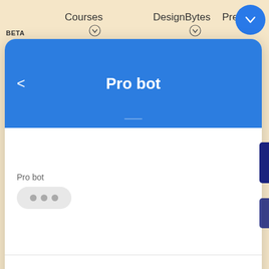BETA   Courses   DesignBytes   Premium
[Figure (screenshot): Blue circular button with white chevron/down arrow icon in top right corner of navigation bar]
Pro bot
Pro bot
[Figure (illustration): Chat typing indicator bubble with three grey dots indicating Pro bot is typing a response]
Choose an option